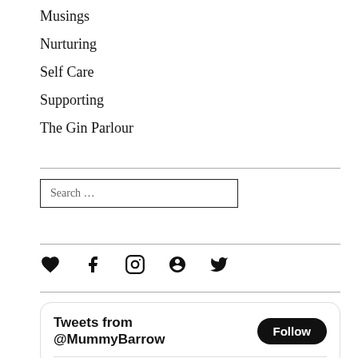Musings
Nurturing
Self Care
Supporting
The Gin Parlour
Search …
[Figure (infographic): Social media icons: heart, Facebook, Instagram, Pinterest, Twitter]
Tweets from @MummyBarrow  Follow